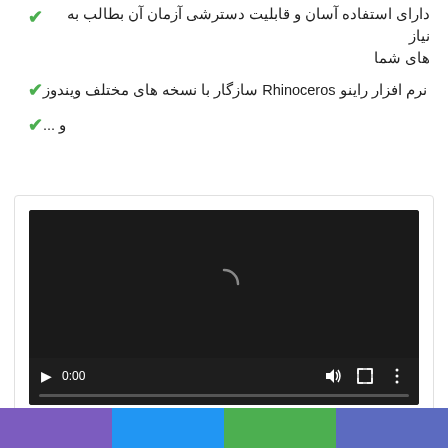دارای استفاده آسان و قابلیت دسترشی آزمان آن بطالب به نیاز های شما
نرم افزار راینو Rhinoceros سازگار با نسخه های مختلف ویندوز
و ...
[Figure (screenshot): Embedded video player showing a dark screen with a loading spinner arc, playback controls including play button, time display 0:00, volume icon, fullscreen icon, and more options icon, with a progress bar at the bottom.]